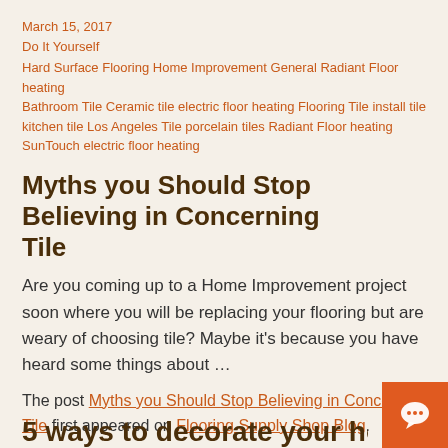March 15, 2017
Do It Yourself
Hard Surface Flooring Home Improvement General Radiant Floor heating Bathroom Tile Ceramic tile electric floor heating Flooring Tile install tile kitchen tile Los Angeles Tile porcelain tiles Radiant Floor heating SunTouch electric floor heating
Myths you Should Stop Believing in Concerning Tile
Are you coming up to a Home Improvement project soon where you will be replacing your flooring but are weary of choosing tile? Maybe it’s because you have heard some things about …
The post Myths you Should Stop Believing in Concerning Tile first appeared on Flooring Supply Shop Blog.
5 ways to decorate your ho